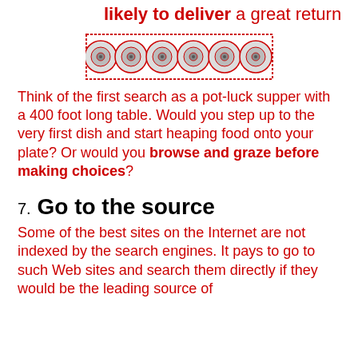likely to deliver a great return
[Figure (illustration): A decorative row of six circular record player or dial images arranged horizontally in a bordered rectangle]
Think of the first search as a pot-luck supper with a 400 foot long table. Would you step up to the very first dish and start heaping food onto your plate? Or would you browse and graze before making choices?
7. Go to the source
Some of the best sites on the Internet are not indexed by the search engines. It pays to go to such Web sites and search them directly if they would be the leading source of